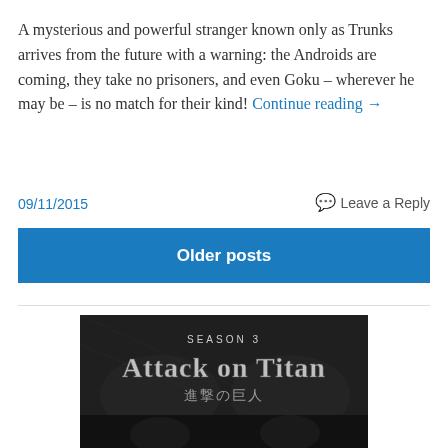A mysterious and powerful stranger known only as Trunks arrives from the future with a warning: the Androids are coming, they take no prisoners, and even Goku – wherever he may be – is no match for their kind! Continue reading →
09/11/2015
Leave a Reply
Older posts
[Figure (illustration): Attack on Titan Season 3 promotional image with dark background showing the title text 'SEASON 3 Attack on Titan' and Japanese text '進撃の巨人']